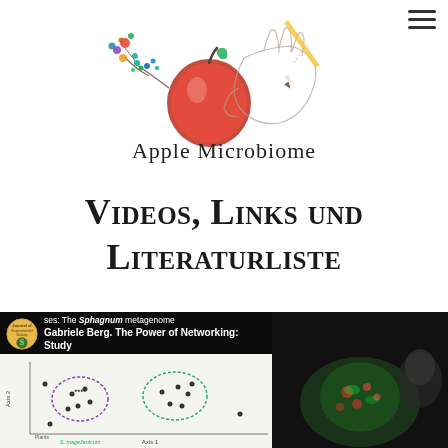[Figure (illustration): Apple Microbiome logo: a hand holding a pencil drawing a red apple with colorful microbiome elements (bacteria, plants) branching from it. Below the illustration reads 'Apple Microbiome'.]
Videos, Links und Literaturliste
[Figure (screenshot): Screenshot of two video thumbnails side by side. Left: A scientific scatter plot with two circled clusters (purple and green) with text overlay showing a journal badge and text 'ses: The Sphagnum metagenome'. Right: A dark thumbnail showing a person with text overlay 'Gabriele Berg. The Power of Networking: Study'.]